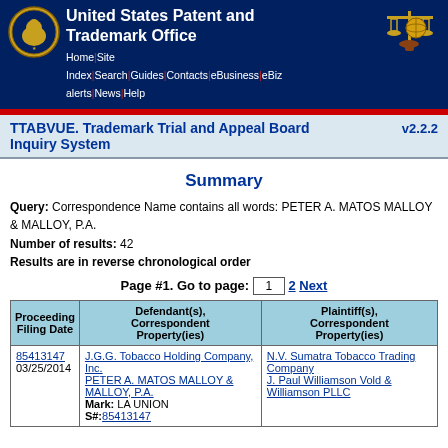United States Patent and Trademark Office
TTABVUE. Trademark Trial and Appeal Board Inquiry System v2.2.2
Summary
Query: Correspondence Name contains all words: PETER A. MATOS MALLOY & MALLOY, P.A.
Number of results: 42
Results are in reverse chronological order
Page #1. Go to page: 1  2  Next
| Proceeding Filing Date | Defendant(s), Correspondent Property(ies) | Plaintiff(s), Correspondent Property(ies) |
| --- | --- | --- |
| 85413147 03/25/2014 | J.G.G. Tobacco Holding Company, Inc.
PETER A. MATOS MALLOY & MALLOY, P.A.
Mark: LA UNION
S#: 85413147 | N.V. Sumatra Tobacco Trading Company
J. Paul Williamson Vold & Williamson PLLC |